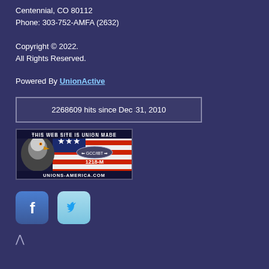Centennial, CO 80112
Phone: 303-752-AMFA (2632)
Copyright © 2022.
All Rights Reserved.
Powered By UnionActive
2268609 hits since Dec 31, 2010
[Figure (logo): Union Made badge with bald eagle and American flag background, GCC/IBT 1218-M, UNIONS-AMERICA.COM]
[Figure (logo): Facebook icon button]
[Figure (logo): Twitter icon button]
^